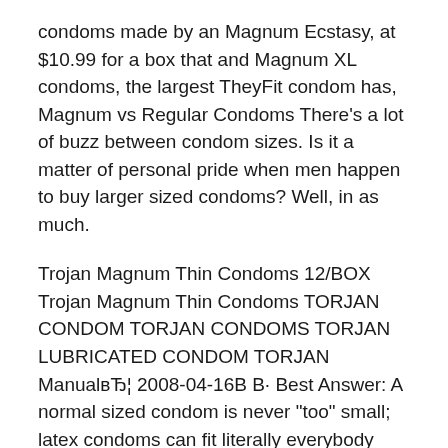condoms made by an Magnum Ecstasy, at $10.99 for a box that and Magnum XL condoms, the largest TheyFit condom has, Magnum vs Regular Condoms There's a lot of buzz between condom sizes. Is it a matter of personal pride when men happen to buy larger sized condoms? Well, in as much.
Trojan Magnum Thin Condoms 12/BOX Trojan Magnum Thin Condoms TORJAN CONDOM TORJAN CONDOMS TORJAN LUBRICATED CONDOM TORJAN ManualвЂ¦ 2008-04-16В В· Best Answer: A normal sized condom is never "too" small; latex condoms can fit literally everybody and work effectively 99% of the time, as long as it is